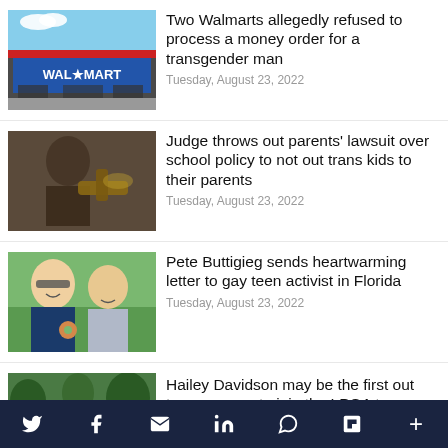[Figure (photo): Walmart store exterior with blue and red facade]
Two Walmarts allegedly refused to process a money order for a transgender man
Tuesday, August 23, 2022
[Figure (photo): Judge with gavel, blurred background]
Judge throws out parents’ lawsuit over school policy to not out trans kids to their parents
Tuesday, August 23, 2022
[Figure (photo): Pete Buttigieg and husband smiling outdoors]
Pete Buttigieg sends heartwarming letter to gay teen activist in Florida
Tuesday, August 23, 2022
[Figure (photo): Person on golf course with trees in background]
Hailey Davidson may be the first out trans woman to join the LPGA tour